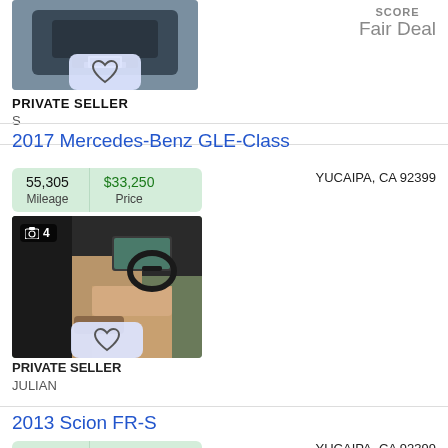[Figure (photo): Rear view of a dark sedan car in a parking area, partially visible at top of page]
PRIVATE SELLER
S
SCORE
Fair Deal
2017 Mercedes-Benz GLE-Class
| Mileage | Price |
| --- | --- |
| 55,305 | $33,250 |
YUCAIPA, CA 92399
[Figure (photo): Interior view of a Mercedes-Benz GLE-Class showing open driver door with tan/brown leather seats and dashboard]
PRIVATE SELLER
JULIAN
2013 Scion FR-S
| Mileage | Price |
| --- | --- |
| 66,217 | $16,819 |
YUCAIPA, CA 92399